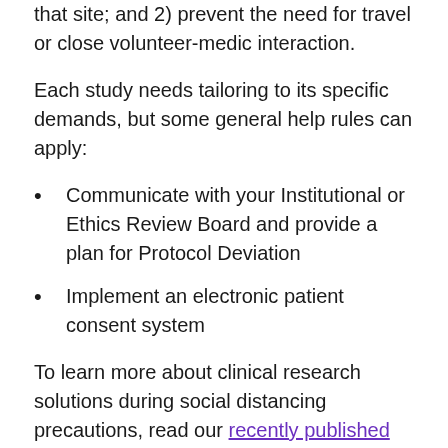that site; and 2) prevent the need for travel or close volunteer-medic interaction.
Each study needs tailoring to its specific demands, but some general help rules can apply:
Communicate with your Institutional or Ethics Review Board and provide a plan for Protocol Deviation
Implement an electronic patient consent system
To learn more about clinical research solutions during social distancing precautions, read our recently published blog post.
Nutrasource has 18 years of experience guiding health products from concept to claim. Contact our team today